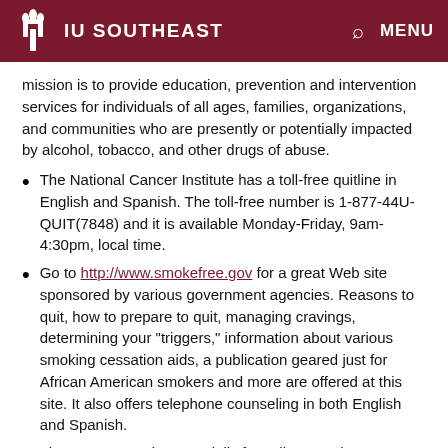IU SOUTHEAST
mission is to provide education, prevention and intervention services for individuals of all ages, families, organizations, and communities who are presently or potentially impacted by alcohol, tobacco, and other drugs of abuse.
The National Cancer Institute has a toll-free quitline in English and Spanish. The toll-free number is 1-877-44U-QUIT(7848) and it is available Monday-Friday, 9am-4:30pm, local time.
Go to http://www.smokefree.gov for a great Web site sponsored by various government agencies. Reasons to quit, how to prepare to quit, managing cravings, determining your "triggers," information about various smoking cessation aids, a publication geared just for African American smokers and more are offered at this site. It also offers telephone counseling in both English and Spanish.
There's a great site especially for college students at http://www.tobaccofreeu.org